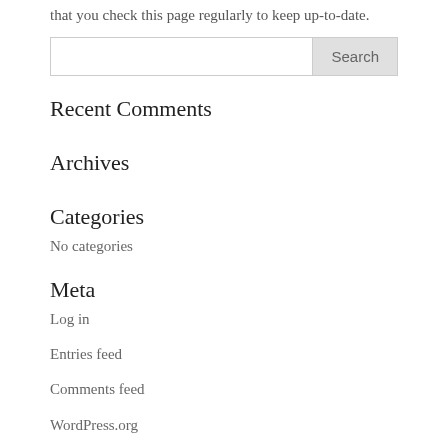that you check this page regularly to keep up-to-date.
Recent Comments
Archives
Categories
No categories
Meta
Log in
Entries feed
Comments feed
WordPress.org